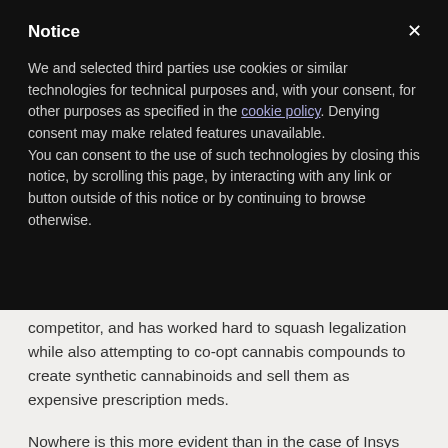Notice
We and selected third parties use cookies or similar technologies for technical purposes and, with your consent, for other purposes as specified in the cookie policy. Denying consent may make related features unavailable.
You can consent to the use of such technologies by closing this notice, by scrolling this page, by interacting with any link or button outside of this notice or by continuing to browse otherwise.
competitor, and has worked hard to squash legalization while also attempting to co-opt cannabis compounds to create synthetic cannabinoids and sell them as expensive prescription meds.
Nowhere is this more evident than in the case of Insys Therapeutics, an Arizona-based Big Pharma company that manufactures pain medication Subsys, the brand name for fentanyl, an opioid 50 times stronger than heroin (and the same opioid that caused Prince's fatal accidental overdose